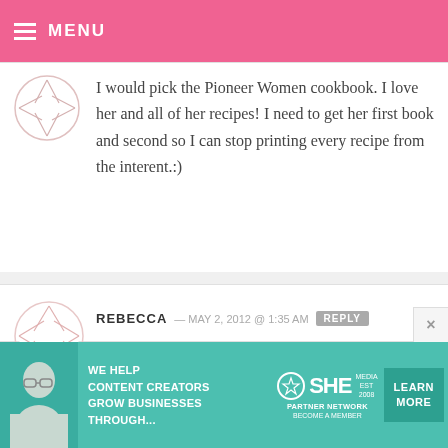MENU
I would pick the Pioneer Women cookbook. I love her and all of her recipes! I need to get her first book and second so I can stop printing every recipe from the interent.:)
REBECCA — MAY 2, 2012 @ 1:35 AM REPLY
Lots of these look great, but Flour looks like it’s filled with tons of ooey gooey deliciousness!
[Figure (infographic): SHE media partner network advertisement banner with teal background, text 'WE HELP CONTENT CREATORS GROW BUSINESSES THROUGH...', SHE logo, and LEARN MORE button]